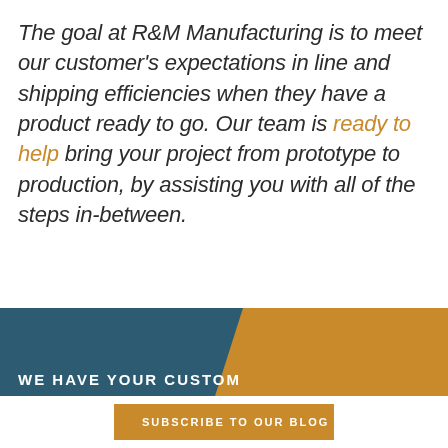The goal at R&M Manufacturing is to meet our customer's expectations in line and shipping efficiencies when they have a product ready to go. Our team is ready to help bring your project from prototype to production, by assisting you with all of the steps in-between.
[Figure (infographic): Banner with dark teal left section and gold/amber right section (diagonal split). Text reads 'WE HAVE YOUR CUSTOM' in white bold uppercase letters on the dark section.]
SUBSCRIBE TO OUR BLOG